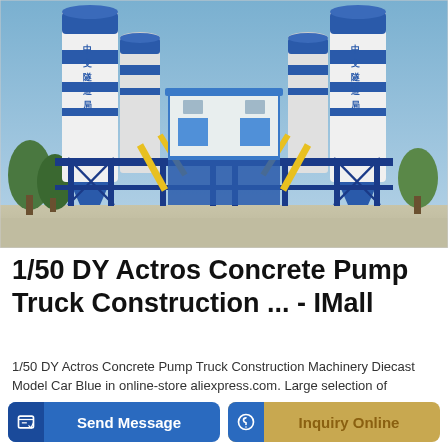[Figure (photo): Industrial concrete batching plant with large blue and white cylindrical silos on left and right, blue steel structural frame, yellow conveyor belts, and a central blue and white building. Chinese characters on silos read 中交隧道局. Blue sky background, concrete ground.]
1/50 DY Actros Concrete Pump Truck Construction ... - IMall
1/50 DY Actros Concrete Pump Truck Construction Machinery Diecast Model Car Blue in online-store aliexpress.com. Large selection of Diecasts & Toy Vehicles ...
Send Message
Inquiry Online